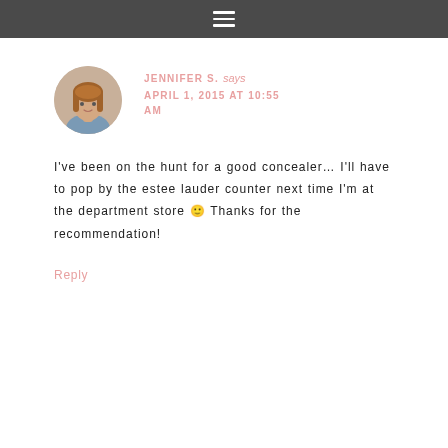≡
[Figure (photo): Round avatar photo of a woman with brown hair and bangs]
JENNIFER S. says
APRIL 1, 2015 AT 10:55 AM
I've been on the hunt for a good concealer… I'll have to pop by the estee lauder counter next time I'm at the department store 🙂 Thanks for the recommendation!
Reply